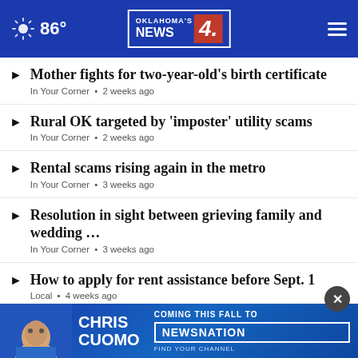Oklahoma's News 4 — 86°
Mother fights for two-year-old's birth certificate
In Your Corner • 2 weeks ago
Rural OK targeted by 'imposter' utility scams
In Your Corner • 2 weeks ago
Rental scams rising again in the metro
In Your Corner • 3 weeks ago
Resolution in sight between grieving family and wedding …
In Your Corner • 3 weeks ago
How to apply for rent assistance before Sept. 1
Local • 4 weeks ago
In Your Corner photographer heʼs up ca…
In Yo…
[Figure (advertisement): Chris Cuomo — Coming This Fall To NewsNation. Find Your Channel.]